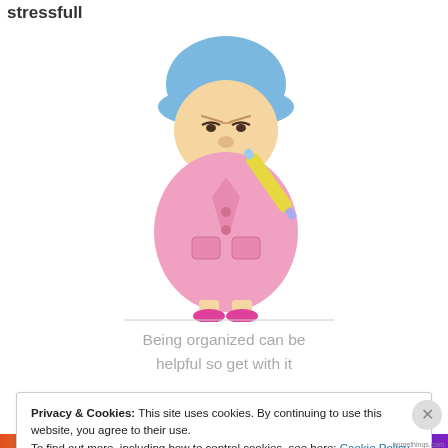stressfull
[Figure (illustration): Cartoon illustration of a grumpy old woman in a pink coat and blue hat, holding a rolling pin, with arms folded and an angry expression. Watermark/attribution text visible at the bottom of the illustration.]
Being organized can be helpful so get with it
Privacy & Cookies: This site uses cookies. By continuing to use this website, you agree to their use.
To find out more, including how to control cookies, see here: Cookie Policy
Close and accept